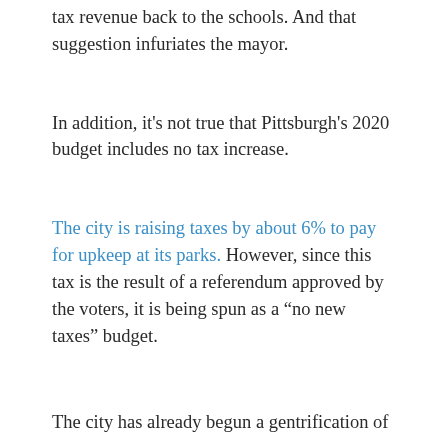tax revenue back to the schools. And that suggestion infuriates the mayor.
In addition, it’s not true that Pittsburgh’s 2020 budget includes no tax increase.
The city is raising taxes by about 6% to pay for upkeep at its parks. However, since this tax is the result of a referendum approved by the voters, it is being spun as a “no new taxes” budget.
The city has already begun a gentrification of